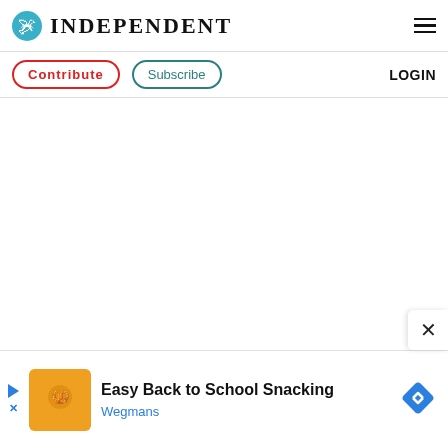INDEPENDENT
Contribute  Subscribe  LOGIN
[Figure (screenshot): White empty content area]
[Figure (infographic): Close (X) button overlay at bottom right of content area]
[Figure (infographic): Advertisement banner: Easy Back to School Snacking - Wegmans]